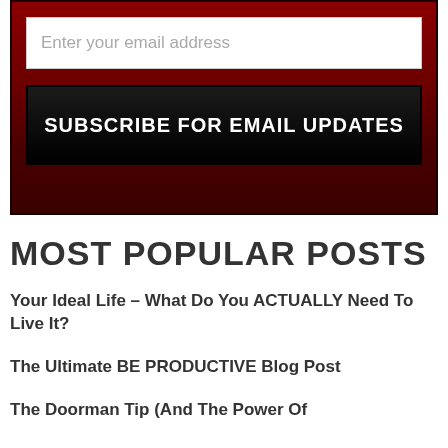[Figure (screenshot): Email subscription widget with dark red gradient background, white input field placeholder 'Enter your email address', and black 'SUBSCRIBE FOR EMAIL UPDATES' button]
MOST POPULAR POSTS
Your Ideal Life – What Do You ACTUALLY Need To Live It?
The Ultimate BE PRODUCTIVE Blog Post
The Doorman Tip (And The Power Of